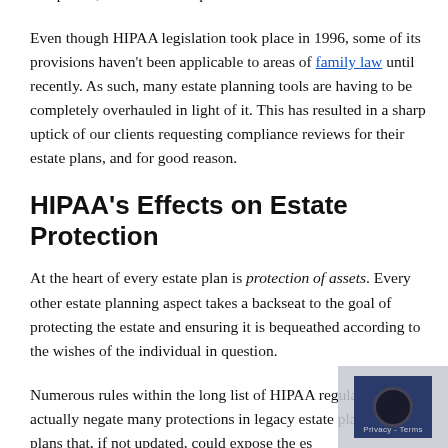companies, and other third parties.
Even though HIPAA legislation took place in 1996, some of its provisions haven't been applicable to areas of family law until recently. As such, many estate planning tools are having to be completely overhauled in light of it. This has resulted in a sharp uptick of our clients requesting compliance reviews for their estate plans, and for good reason.
HIPAA's Effects on Estate Protection
At the heart of every estate plan is protection of assets. Every other estate planning aspect takes a backseat to the goal of protecting the estate and ensuring it is bequeathed according to the wishes of the individual in question.
Numerous rules within the long list of HIPAA regulations actually negate many protections in legacy estate plans — estate plans that, if not updated, could expose the es… to multiple risks.